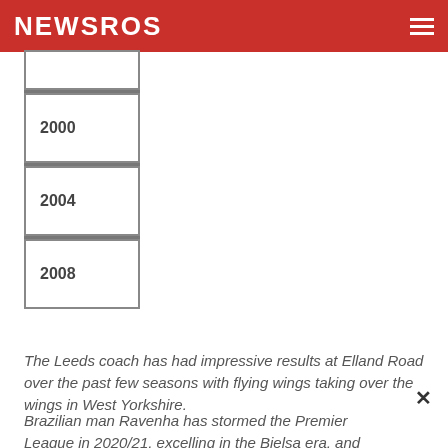NEWSROS
[Figure (other): Partial timeline column showing years 2000, 2004, 2008 in bordered boxes with a top partial box]
The Leeds coach has had impressive results at Elland Road over the past few seasons with flying wings taking over the wings in West Yorkshire.
Brazilian man Ravenha has stormed the Premier League in 2020/21, excelling in the Bielsa era, and Damsgaard